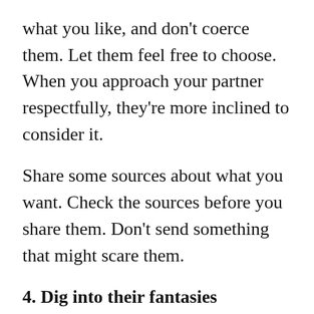what you like, and don't coerce them. Let them feel free to choose. When you approach your partner respectfully, they're more inclined to consider it.
Share some sources about what you want. Check the sources before you share them. Don't send something that might scare them.
4. Dig into their fantasies
Also, while you express yourself… ask them about their opinions on the new ideas. You both might have the same things in mind…